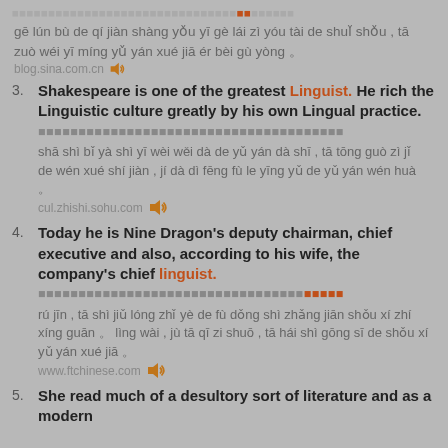gē lún bù de qí jiàn shàng yǒu yī gè lái zì yóu tài de shuǐ shǒu , tā zuò wéi yī míng yǔ yán xué jiā ér bèi gù yòng 。
blog.sina.com.cn [speaker icon]
3. Shakespeare is one of the greatest Linguist. He rich the Linguistic culture greatly by his own Lingual practice.
[Chinese characters row]
shā shì bǐ yà shì yī wèi wěi dà de yǔ yán dà shī , tā tōng guò zì jǐ de wén xué shí jiàn , jí dà dì fēng fù le yīng yǔ de yǔ yán wén huà 。
cul.zhishi.sohu.com [speaker icon]
4. Today he is Nine Dragon's deputy chairman, chief executive and also, according to his wife, the company's chief linguist.
[Chinese characters row]
rú jīn , tā shì jiǔ lóng zhǐ yè de fù dǒng shì zhǎng jiān shǒu xí zhí xíng guān 。 lìng wài , jù tā qī zi shuō , tā hái shì gōng sī de shǒu xí yǔ yán xué jiā 。
www.ftchinese.com [speaker icon]
5. She read much of a desultory sort of literature and as a modern